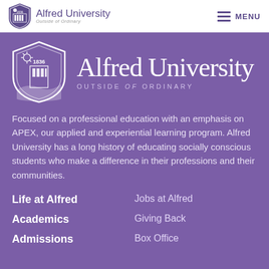Alfred University — OUTSIDE of ORDINARY | MENU
[Figure (logo): Alfred University shield logo and wordmark — large version on purple background]
Focused on a professional education with an emphasis on APEX, our applied and experiential learning program. Alfred University has a long history of educating socially conscious students who make a difference in their professions and their communities.
Life at Alfred
Jobs at Alfred
Academics
Giving Back
Admissions
Box Office